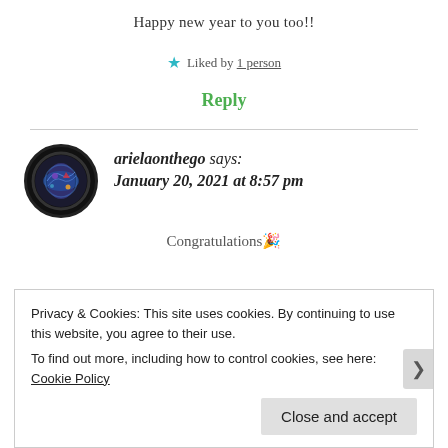Happy new year to you too!!
★ Liked by 1 person
Reply
[Figure (illustration): Round avatar icon with dark circular border showing a globe/travel themed illustration on dark background]
arielaonthego says:
January 20, 2021 at 8:57 pm
Congratulations 🎉
Privacy & Cookies: This site uses cookies. By continuing to use this website, you agree to their use.
To find out more, including how to control cookies, see here: Cookie Policy
Close and accept